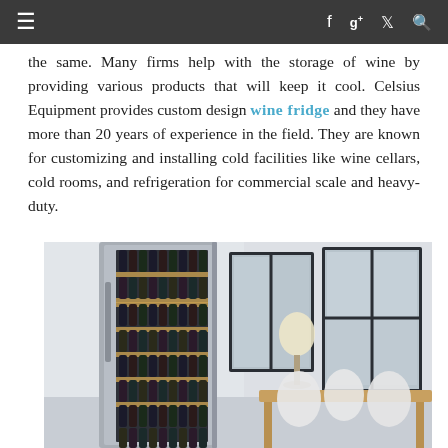≡  f  g+  🐦  🔍
the same. Many firms help with the storage of wine by providing various products that will keep it cool. Celsius Equipment provides custom design wine fridge and they have more than 20 years of experience in the field. They are known for customizing and installing cold facilities like wine cellars, cold rooms, and refrigeration for commercial scale and heavy-duty.
[Figure (photo): A tall stainless steel wine fridge/cooler with multiple shelves loaded with wine bottles, placed in a modern dining room setting with a wooden table, white chairs, and large windows in the background.]